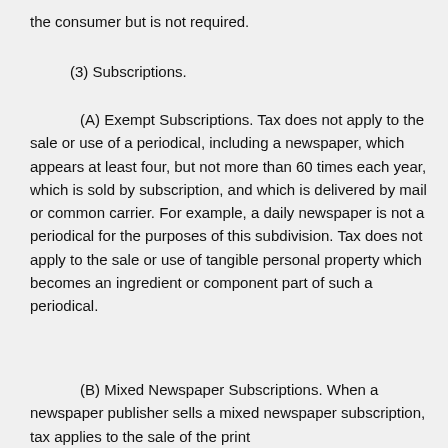the consumer but is not required.
(3) Subscriptions.
(A) Exempt Subscriptions. Tax does not apply to the sale or use of a periodical, including a newspaper, which appears at least four, but not more than 60 times each year, which is sold by subscription, and which is delivered by mail or common carrier. For example, a daily newspaper is not a periodical for the purposes of this subdivision. Tax does not apply to the sale or use of tangible personal property which becomes an ingredient or component part of such a periodical.
(B) Mixed Newspaper Subscriptions. When a newspaper publisher sells a mixed newspaper subscription, tax applies to the sale of the print